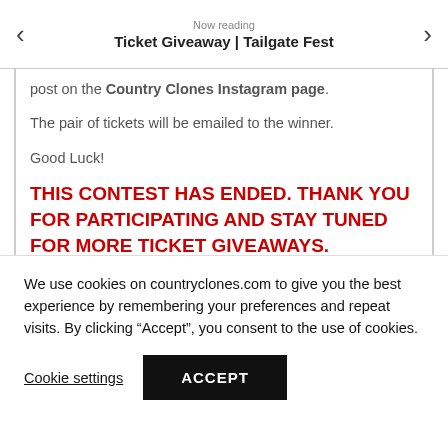Now reading
Ticket Giveaway | Tailgate Fest
post on the Country Clones Instagram page.
The pair of tickets will be emailed to the winner.
Good Luck!
THIS CONTEST HAS ENDED. THANK YOU FOR PARTICIPATING AND STAY TUNED FOR MORE TICKET GIVEAWAYS.
**Only one vote per person**
Official Rules
The winner must have completed all three steps outlined above to be eligible. The winner must reside
We use cookies on countryclones.com to give you the best experience by remembering your preferences and repeat visits. By clicking “Accept”, you consent to the use of cookies.